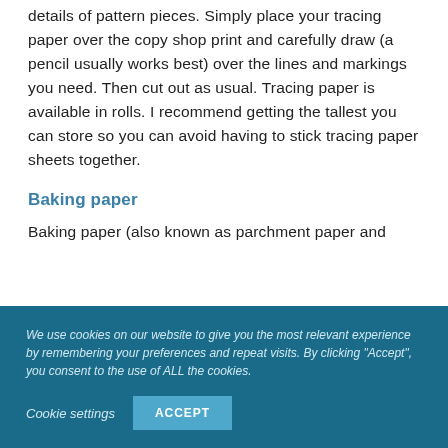details of pattern pieces. Simply place your tracing paper over the copy shop print and carefully draw (a pencil usually works best) over the lines and markings you need. Then cut out as usual. Tracing paper is available in rolls. I recommend getting the tallest you can store so you can avoid having to stick tracing paper sheets together.
Baking paper
Baking paper (also known as parchment paper and
We use cookies on our website to give you the most relevant experience by remembering your preferences and repeat visits. By clicking "Accept", you consent to the use of ALL the cookies.